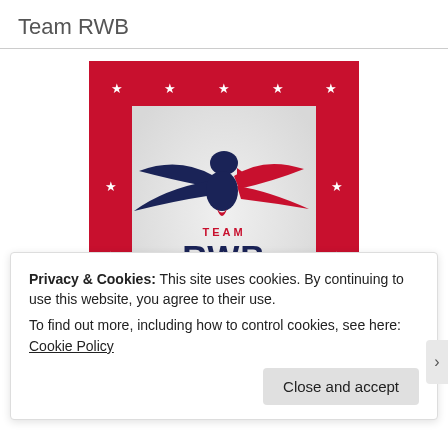Team RWB
[Figure (logo): Team RWB logo on red background with white stars border. Center shows eagle/bird logo in navy blue and red with text 'TEAM RWB' and tagline 'IT'S OUR TURN'.]
Privacy & Cookies: This site uses cookies. By continuing to use this website, you agree to their use.
To find out more, including how to control cookies, see here: Cookie Policy
Close and accept